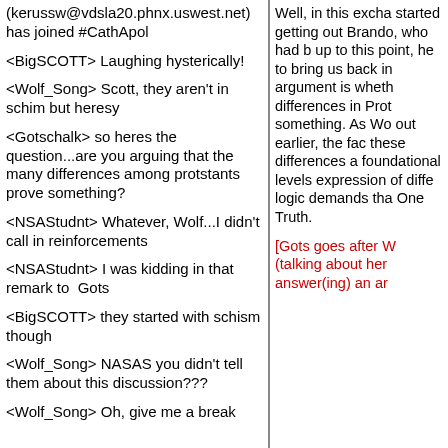(kerussw@vdsla20.phnx.uswest.net) has joined #CathApol
<BigSCOTT> Laughing hysterically!
<Wolf_Song> Scott, they aren't in schim but heresy
<Gotschalk> so heres the question...are you arguing that the many differences among protstants prove something?
<NSAStudnt> Whatever, Wolf...I didn't call in reinforcements
<NSAStudnt> I was kidding in that remark to  Gots
<BigSCOTT> they started with schism though
<Wolf_Song> NASAS you didn't tell them about this discussion???
<Wolf_Song> Oh, give me a break
Well, in this excha started getting out Brando, who had b up to this point, he to bring us back in argument is wheth differences in Prot something. As Wo out earlier, the fac these differences a foundational levels expression of diffe logic demands tha One Truth.
[Gots goes after W (talking about her answer(ing) an ar